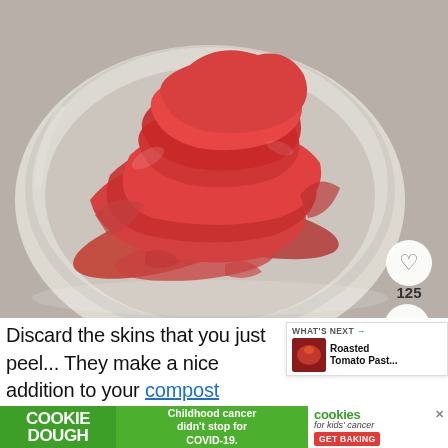[Figure (photo): Glass bowl filled with red tomato skins/peels piled up, on a light surface. Social interaction buttons (heart icon, share icon) and count 125 visible on the right side of the image.]
Discard the skins that you just peel... They make a nice addition to your compost pile!
[Figure (photo): What's Next thumbnail showing Roasted Tomato Past... with a small food image]
[Figure (infographic): Cookie Dough advertisement banner. Left: COOKIE DOUGH in white text on green background. Middle: Childhood cancer didn't stop for COVID-19. Right: cookies for kids cancer GET BAKING]